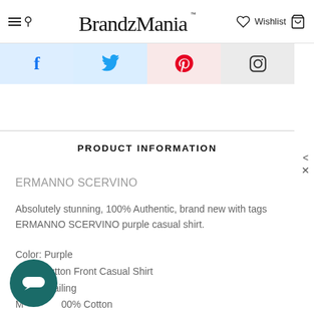BrandzMania — Wishlist
[Figure (screenshot): Social share buttons: Facebook, Twitter, Pinterest, Instagram]
PRODUCT INFORMATION
ERMANNO SCERVINO
Absolutely stunning, 100% Authentic, brand new with tags ERMANNO SCERVINO purple casual shirt.
Color: Purple
Style: Button Front Casual Shirt
Logo detailing
Material: 100% Cotton